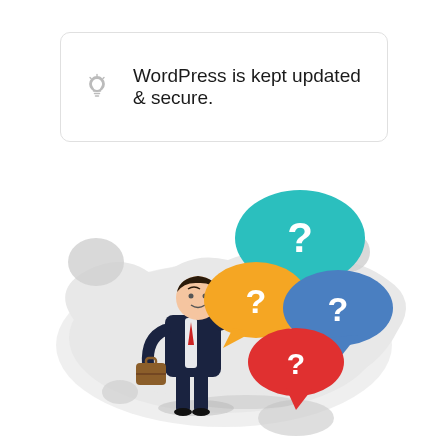WordPress is kept updated & secure.
[Figure (illustration): A confused businessman in a dark suit holding a briefcase, scratching his head, surrounded by three speech bubbles with question marks in teal, yellow/orange, steel blue, and red colors. The background has a light grey cloud/blob shape with decorative grey circles.]